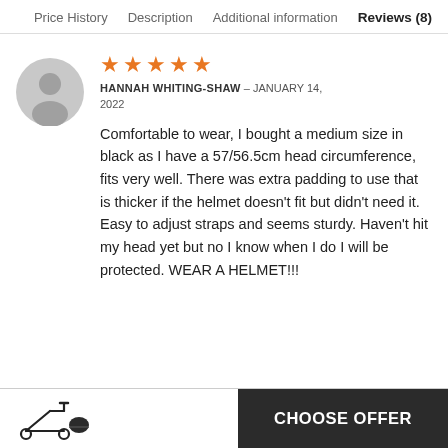Price History   Description   Additional information   Reviews (8)
[Figure (illustration): Grey circular avatar icon with silhouette of person head and shoulders]
★★★★★
HANNAH WHITING-SHAW – JANUARY 14, 2022
Comfortable to wear, I bought a medium size in black as I have a 57/56.5cm head circumference, fits very well. There was extra padding to use that is thicker if the helmet doesn't fit but didn't need it. Easy to adjust straps and seems sturdy. Haven't hit my head yet but no I know when I do I will be protected. WEAR A HELMET!!!
[Figure (illustration): Small icon of a scooter and a helmet at bottom left]
CHOOSE OFFER